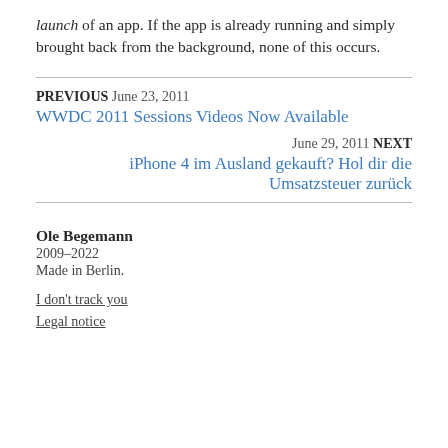launch of an app. If the app is already running and simply brought back from the background, none of this occurs.
PREVIOUS  June 23, 2011
WWDC 2011 Sessions Videos Now Available
June 29, 2011  NEXT
iPhone 4 im Ausland gekauft? Hol dir die Umsatzsteuer zurück
Ole Begemann
2009–2022
Made in Berlin.
I don't track you
Legal notice